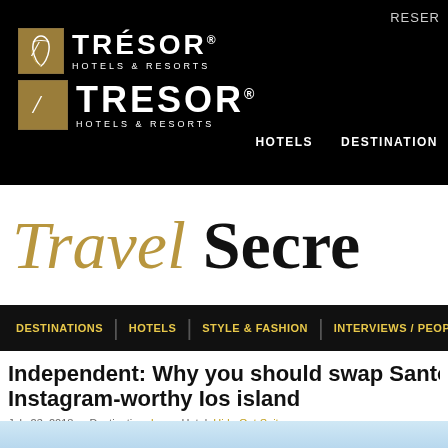RESER
[Figure (logo): TRÉSOR Hotels & Resorts logo - two rows with gold square icon and brand name in white on black background]
Travel Secrets
DESTINATIONS | HOTELS | STYLE & FASHION | INTERVIEWS / PEOPLE |
Independent: Why you should swap Santo Instagram-worthy Ios island
July 23, 2018 • Destination: Ios • Hotel: Hide Out Suites